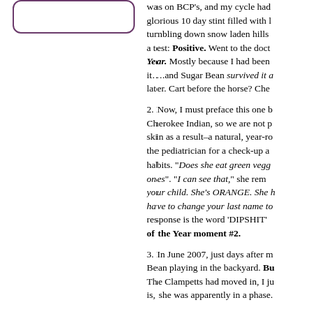[Figure (other): Rounded rectangle border box in purple/mauve color]
was on BCP's, and my cycle had... glorious 10 day stint filled with ... tumbling down snow laden hills ... a test: Positive. Went to the doct... Year. Mostly because I had been it….and Sugar Bean survived it a... later. Cart before the horse? Che...

2. Now, I must preface this one b... Cherokee Indian, so we are not p... skin as a result–a natural, year-ro... the pediatrician for a check-up a... habits. "Does she eat green vegg... ones". "I can see that," she rem... your child. She's ORANGE. She ... have to change your last name to... response is the word 'DIPSHIT'... of the Year moment #2.

3. In June 2007, just days after m... Bean playing in the backyard. Bu... The Clampetts had moved in, I ju... is, she was apparently in a phase.